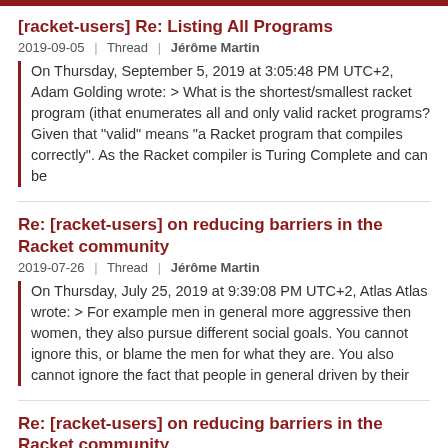[racket-users] Re: Listing All Programs
2019-09-05 | Thread | Jérôme Martin
On Thursday, September 5, 2019 at 3:05:48 PM UTC+2, Adam Golding wrote: > What is the shortest/smallest racket program (ithat enumerates all and only valid racket programs? Given that "valid" means "a Racket program that compiles correctly". As the Racket compiler is Turing Complete and can be
Re: [racket-users] on reducing barriers in the Racket community
2019-07-26 | Thread | Jérôme Martin
On Thursday, July 25, 2019 at 9:39:08 PM UTC+2, Atlas Atlas wrote: > For example men in general more aggressive then women, they also pursue different social goals. You cannot ignore this, or blame the men for what they are. You also cannot ignore the fact that people in general driven by their
Re: [racket-users] on reducing barriers in the Racket community